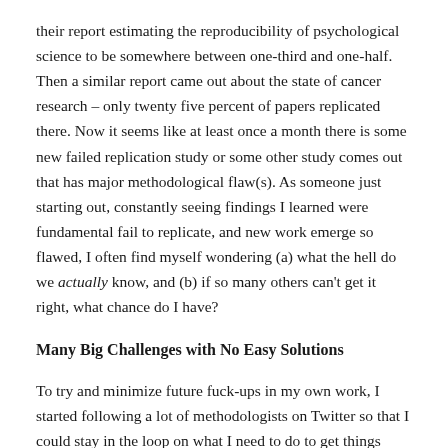their report estimating the reproducibility of psychological science to be somewhere between one-third and one-half. Then a similar report came out about the state of cancer research – only twenty five percent of papers replicated there. Now it seems like at least once a month there is some new failed replication study or some other study comes out that has major methodological flaw(s). As someone just starting out, constantly seeing findings I learned were fundamental fail to replicate, and new work emerge so flawed, I often find myself wondering (a) what the hell do we actually know, and (b) if so many others can't get it right, what chance do I have?
Many Big Challenges with No Easy Solutions
To try and minimize future fuck-ups in my own work, I started following a lot of methodologists on Twitter so that I could stay in the loop on what I need to do to get things right (or at least not horribly wrong). There are a lot of proposed solutions out there (and some